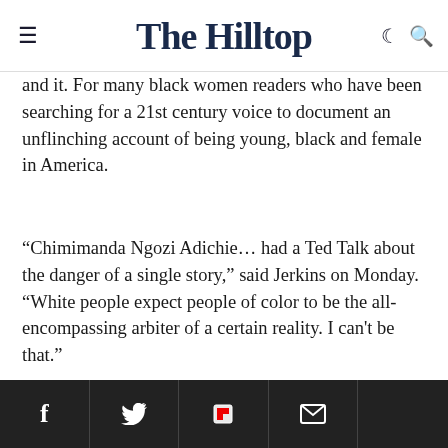The Hilltop
and it. For many black women readers who have been searching for a 21st century voice to document an unflinching account of being young, black and female in America.
“Chimimanda Ngozi Adichie… had a Ted Talk about the danger of a single story,” said Jerkins on Monday. “White people expect people of color to be the all-encompassing arbiter of a certain reality. I can’t be that.”
Jerkins acknowledges that her experiences are unique. er light